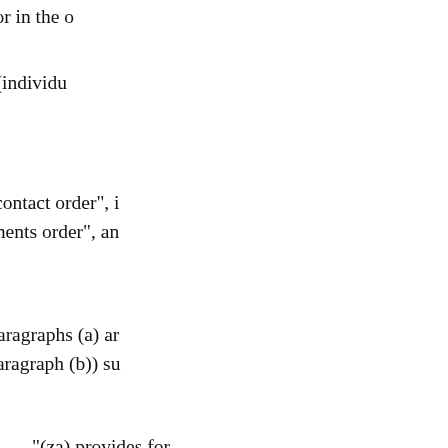arrangements order (or in the o
(4) In subsection (3) (individu monitored) -
(a) for "contact order", i arrangements order", an
(b) for paragraphs (a) an end of paragraph (b)) su
"(za) provides for with different per names the individ persons;
[page 158]
(a) imposes requi with regard to the time or otherwise other person;
(b) names the ind whom the child c